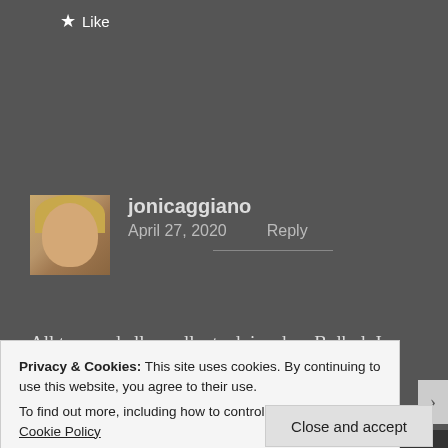★ Like
jonicaggiano
April 27, 2020    Reply
All true and all excellent advice dear Bulbul. I love
Privacy & Cookies: This site uses cookies. By continuing to use this website, you agree to their use.
To find out more, including how to control cookies, see here: Cookie Policy
Close and accept